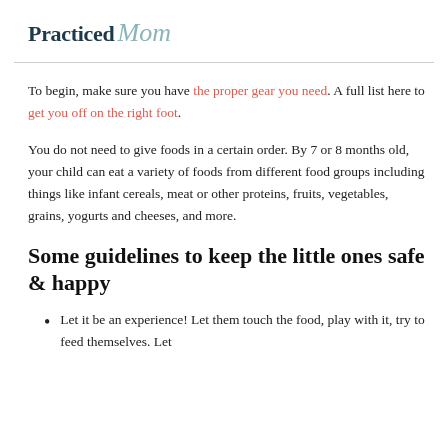Practiced Mom
To begin, make sure you have the proper gear you need. A full list here to get you off on the right foot.
You do not need to give foods in a certain order. By 7 or 8 months old, your child can eat a variety of foods from different food groups including things like infant cereals, meat or other proteins, fruits, vegetables, grains, yogurts and cheeses, and more.
Some guidelines to keep the little ones safe & happy
Let it be an experience! Let them touch the food, play with it, try to feed themselves. Let